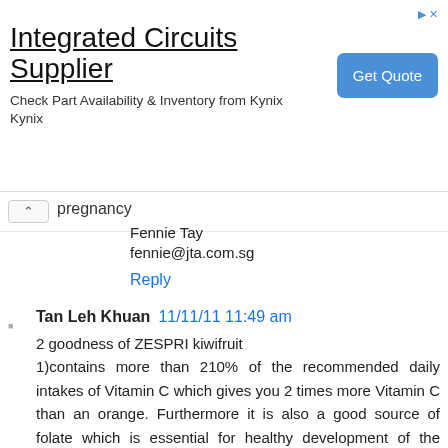[Figure (screenshot): Advertisement banner for 'Integrated Circuits Supplier' from Kynix with a blue 'Get Quote' button and navigation arrows]
pregnancy
Fennie Tay
fennie@jta.com.sg
Reply
Tan Leh Khuan  11/11/11 11:49 am
2 goodness of ZESPRI kiwifruit
1)contains more than 210% of the recommended daily intakes of Vitamin C which gives you 2 times more Vitamin C than an orange. Furthermore it is also a good source of folate which is essential for healthy development of the foetus in early pregnancy.
2)these yummy ZESPRI   Kiwifruit from any leading supermarkets or fruit stalls. And do you know ZESPRI Kiwifruit are the most "nutrient dense" of popular fruits that